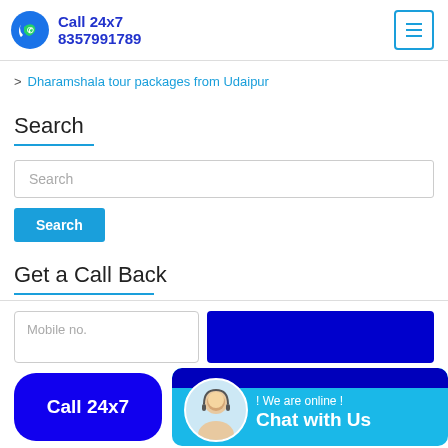Call 24x7 8357991789
Dharamshala tour packages from Udaipur
Search
Search input field
Search button
Get a Call Back
Mobile no. input field
Call 24x7
! We are online ! Chat with Us